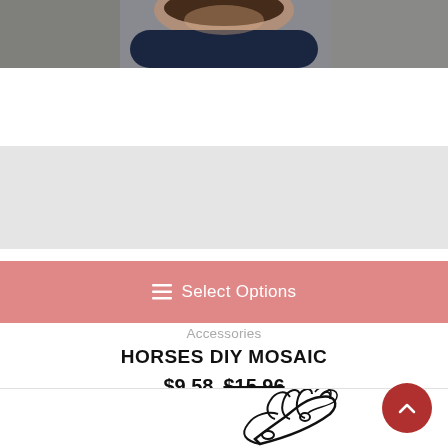[Figure (photo): Top portion of an e-commerce product page showing a person wearing a dark navy top, with brown hair visible, photographed from chest up.]
☰ Select Options
Accessories
HORSES DIY MOSAIC
$9.58 $15.96
[Figure (illustration): Black and white line art illustration of a horse head with flowing mane, partially visible at the bottom of the page.]